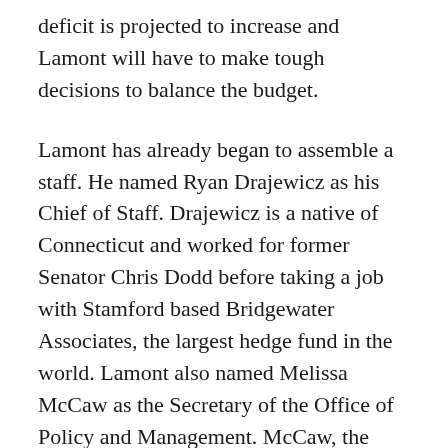deficit is projected to increase and Lamont will have to make tough decisions to balance the budget.
Lamont has already began to assemble a staff. He named Ryan Drajewicz as his Chief of Staff. Drajewicz is a native of Connecticut and worked for former Senator Chris Dodd before taking a job with Stamford based Bridgewater Associates, the largest hedge fund in the world. Lamont also named Melissa McCaw as the Secretary of the Office of Policy and Management. McCaw, the former CFO for Hartford, will oversee the state budget and work with Lamont to create a budget. Lamont created a new role for his administration, the Chief Operating Officer. He named Paul Mounds to serve as a liaison between state departments and agencies. Other high profile appointments include Colleen Flanagan Johnson as a Senior Advisor, Maribel La Cruz as Communications Director, Chris Soto as Director of Legislative Affairs, Joe